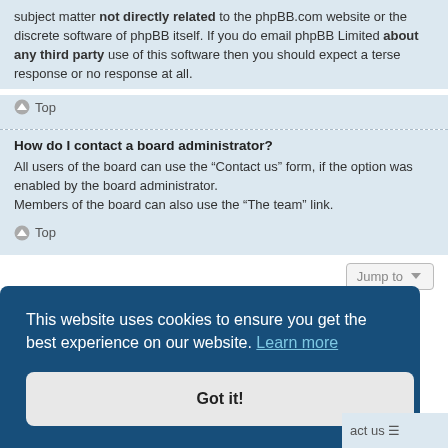subject matter not directly related to the phpBB.com website or the discrete software of phpBB itself. If you do email phpBB Limited about any third party use of this software then you should expect a terse response or no response at all.
Top
How do I contact a board administrator?
All users of the board can use the “Contact us” form, if the option was enabled by the board administrator.
Members of the board can also use the “The team” link.
Top
Jump to
This website uses cookies to ensure you get the best experience on our website. Learn more
Got it!